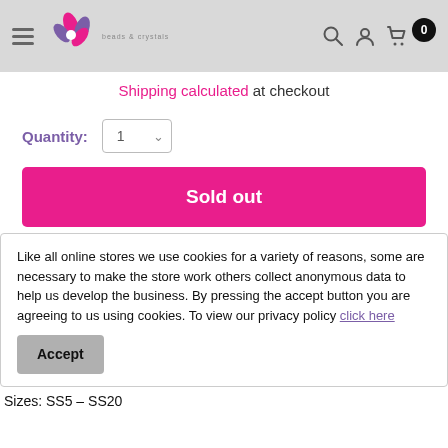beads & crystals — navigation header with logo, search, account, and cart icons
Shipping calculated at checkout
Quantity: 1
Sold out
Like all online stores we use cookies for a variety of reasons, some are necessary to make the store work others collect anonymous data to help us develop the business. By pressing the accept button you are agreeing to us using cookies. To view our privacy policy click here
Accept
Sizes: SS5 – SS20